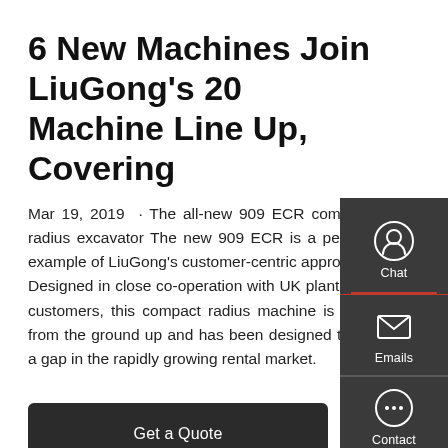6 New Machines Join LiuGong's 20 Machine Line Up, Covering
Mar 19, 2019 · The all-new 909 ECR compact radius excavator The new 909 ECR is a perfect example of LiuGong's customer-centric approach. Designed in close co-operation with UK plant hire customers, this compact radius machine is new from the ground up and has been designed to fill a gap in the rapidly growing rental market.
Get a Quote
[Figure (infographic): Sidebar widget with Chat, Emails, and Contact icons on dark grey background]